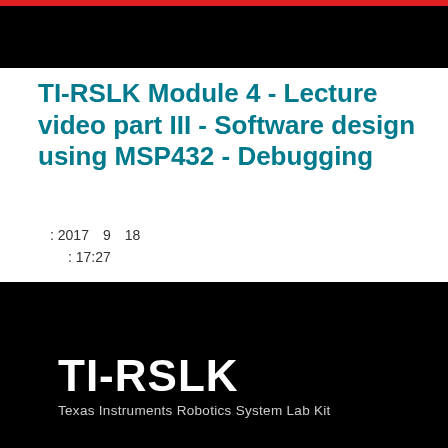[Figure (screenshot): Top black banner with red bar at top edge]
TI-RSLK Module 4 - Lecture video part III - Software design using MSP432 - Debugging
: 2017 9 18
: 17:27
Learn debugging on the MSP432 through controls (step, breakpoints), observing variables and functional debugging.
[Figure (screenshot): Bottom black banner with TI-RSLK logo and subtitle 'Texas Instruments Robotics System Lab Kit']